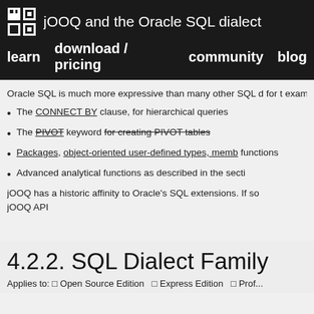jOOQ and the Oracle SQL dialect
learn   download / pricing   community   blog
Oracle SQL is much more expressive than many other SQL dialects for t... examples for this are
The CONNECT BY clause, for hierarchical queries
The PIVOT keyword for creating PIVOT tables
Packages, object-oriented user-defined types, member functions
Advanced analytical functions as described in the section
jOOQ has a historic affinity to Oracle's SQL extensions. If so... jOOQ API
4.2.2. SQL Dialect Family
Applies to: Open Source Edition   Express Edition   Prof...